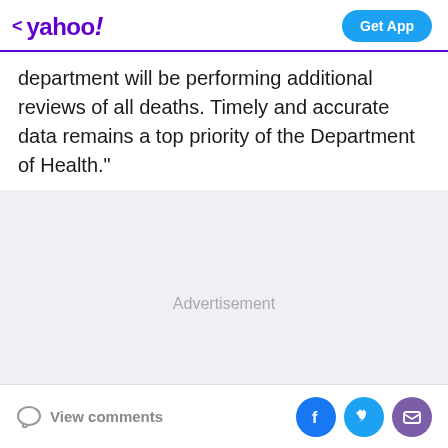< yahoo! Get App
department will be performing additional reviews of all deaths. Timely and accurate data remains a top priority of the Department of Health."
[Figure (other): Advertisement placeholder area with light gray background]
View comments